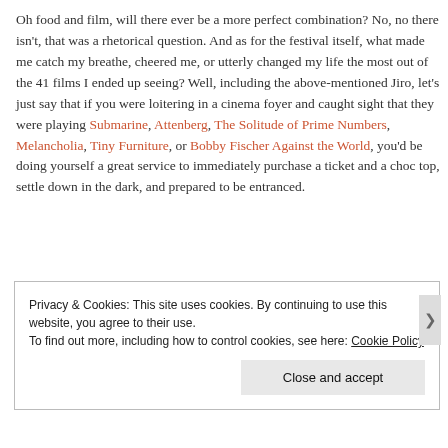Oh food and film, will there ever be a more perfect combination? No, no there isn't, that was a rhetorical question. And as for the festival itself, what made me catch my breathe, cheered me, or utterly changed my life the most out of the 41 films I ended up seeing? Well, including the above-mentioned Jiro, let's just say that if you were loitering in a cinema foyer and caught sight that they were playing Submarine, Attenberg, The Solitude of Prime Numbers, Melancholia, Tiny Furniture, or Bobby Fischer Against the World, you'd be doing yourself a great service to immediately purchase a ticket and a choc top, settle down in the dark, and prepared to be entranced.
Privacy & Cookies: This site uses cookies. By continuing to use this website, you agree to their use. To find out more, including how to control cookies, see here: Cookie Policy